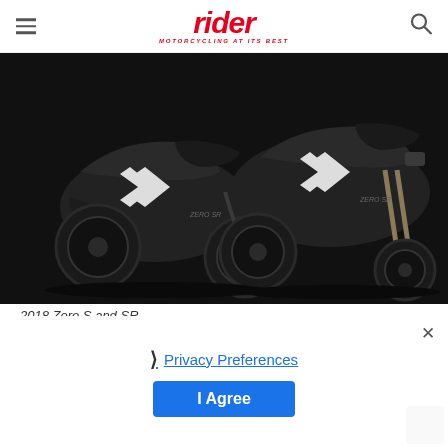rider — MOTORCYCLING AT ITS BEST
[Figure (photo): Two Zero electric motorcycles (Zero S and SR) posed against a dark background. Black and white color scheme with angular fairings and chevron design elements.]
2018 Zero S and SR.
Zero's sport standard model, the S, is available with two battery sizes: ZF7.2 ($10,995) or ZF13.0 ($13,995). The flagship SR comes with the ZF1 battery ($16,495). Bo__ __ can also be
Privacy Preferences
I Agree